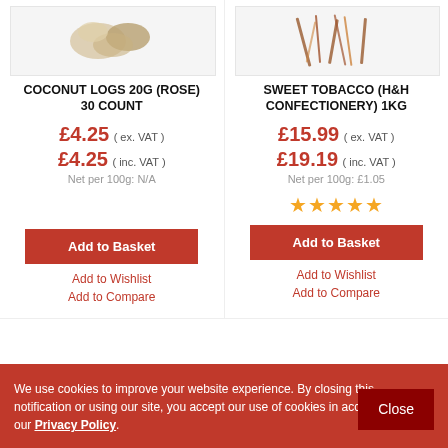[Figure (photo): Product image of Coconut Logs 20g (Rose) 30 Count — partial view of coconut-based candy pieces]
COCONUT LOGS 20G (ROSE) 30 COUNT
£4.25 ( ex. VAT )
£4.25 ( inc. VAT )
Net per 100g: N/A
Add to Basket
Add to Wishlist
Add to Compare
[Figure (photo): Product image of Sweet Tobacco (H&H Confectionery) 1KG — shredded tobacco-style candy]
SWEET TOBACCO (H&H CONFECTIONERY) 1KG
£15.99 ( ex. VAT )
£19.19 ( inc. VAT )
Net per 100g: £1.05
★★★★★
Add to Basket
Add to Wishlist
Add to Compare
We use cookies to improve your website experience. By closing this notification or using our site, you accept our use of cookies in accordance with our Privacy Policy.
Close